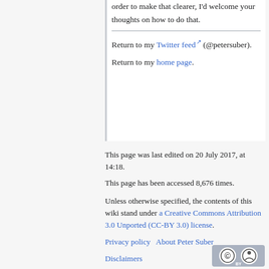order to make that clearer, I'd welcome your thoughts on how to do that.
Return to my Twitter feed (@petersuber).
Return to my home page.
This page was last edited on 20 July 2017, at 14:18.
This page has been accessed 8,676 times.
Unless otherwise specified, the contents of this wiki stand under a Creative Commons Attribution 3.0 Unported (CC-BY 3.0) license.
Privacy policy   About Peter Suber
Disclaimers
[Figure (logo): Creative Commons Attribution license logo (CC BY)]